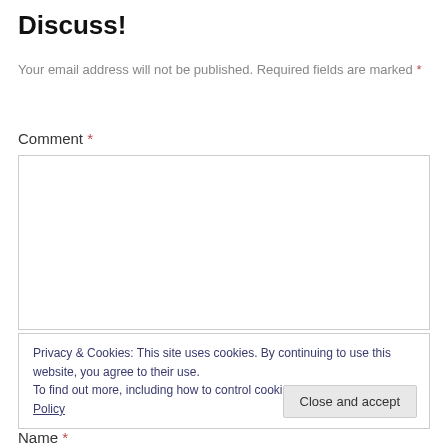Discuss!
Your email address will not be published. Required fields are marked *
Comment *
[Figure (other): Empty comment textarea input box]
Privacy & Cookies: This site uses cookies. By continuing to use this website, you agree to their use.
To find out more, including how to control cookies, see here: Cookie Policy
Close and accept
Name *